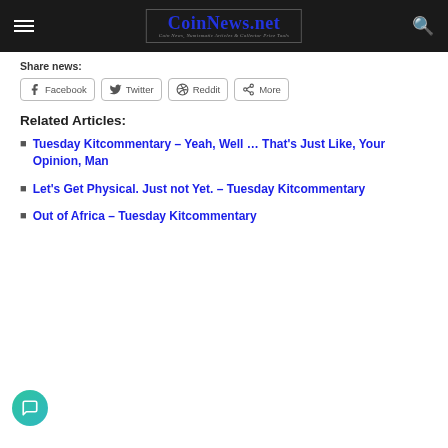CoinNews.net — Coin News, Numismatic Articles & Collector Price Tools
Share news:
Facebook  Twitter  Reddit  More
Related Articles:
Tuesday Kitcommentary – Yeah, Well … That's Just Like, Your Opinion, Man
Let's Get Physical. Just not Yet. – Tuesday Kitcommentary
Out of Africa – Tuesday Kitcommentary